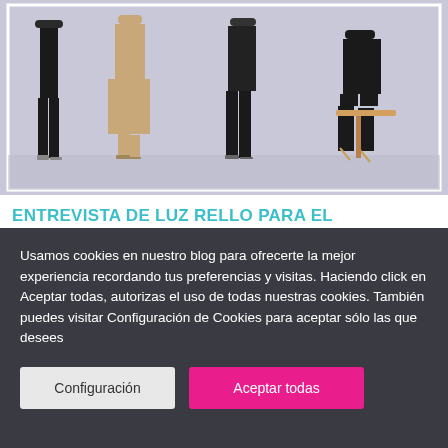[Figure (photo): Fashion photo showing multiple women in black and beige outfits, standing and sitting, against a light grey/lavender background with a white border frame]
ENTREVISTA DE LUZ RELLO PARA EL ESPECIAL DE YO DONNA DE LAS ESPAÑOLAS MÁS INFLUYENTES DEL AÑO.
Usamos cookies en nuestro blog para ofrecerte la mejor experiencia recordando tus preferencias y visitas. Haciendo click en Aceptar todas, autorizas el uso de todas nuestras cookies. También puedes visitar Configuración de Cookies para aceptar sólo las que desees
Configuración
Aceptar todas